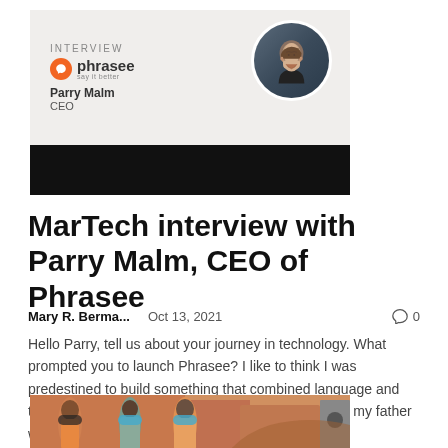[Figure (photo): Interview banner image showing Phrasee logo, 'Parry Malm CEO' text, and a circular photo of a bearded man in dark clothing, with a black bar below]
MarTech interview with Parry Malm, CEO of Phrasee
Mary R. Berma...   Oct 13, 2021   0
Hello Parry, tell us about your journey in technology. What prompted you to launch Phrasee? I like to think I was predestined to build something that combined language and technology: my mother was a language teacher and my father was a...
[Figure (photo): Photo of three people wearing face masks standing outside a building, one in orange clothing]